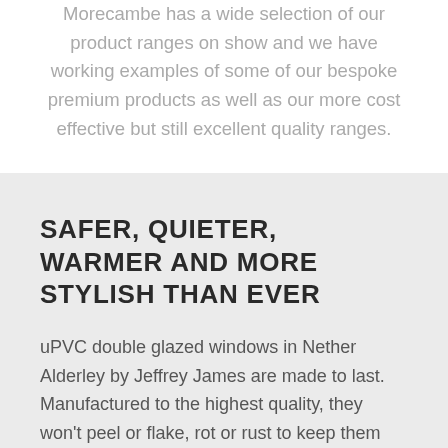Morecambe has a wide selection of our product ranges on show and we have working examples of some of our bespoke premium products as well as our more cost effective but still excellent quality ranges.
SAFER, QUIETER, WARMER AND MORE STYLISH THAN EVER
uPVC double glazed windows in Nether Alderley by Jeffrey James are made to last. Manufactured to the highest quality, they won't peel or flake, rot or rust to keep them looking their best all they need is an occasional wipe down with soapy water. All